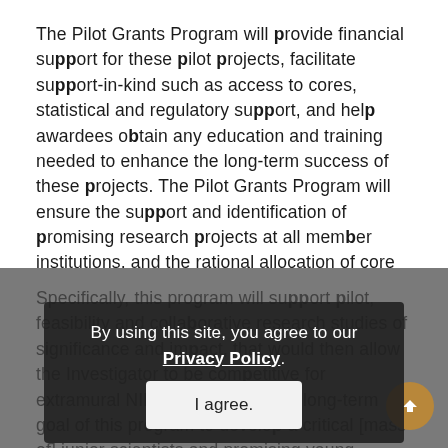The Pilot Grants Program will provide financial support for these pilot projects, facilitate support-in-kind such as access to cores, statistical and regulatory support, and help awardees obtain any education and training needed to enhance the long-term success of these projects. The Pilot Grants Program will ensure the support and identification of promising research projects at all member institutions, and the rational allocation of core resources.
Specifically, this program will support pilot, feasibility and collaborative research studies of significance and impact, that would then allow the Investigator to be competitive for extramural NIH R01 funding. The long-term goal of this program to develop a critical [mass of] junior scientists and promising young investigators trained in
By using this site, you agree to our Privacy Policy. [I agree button]